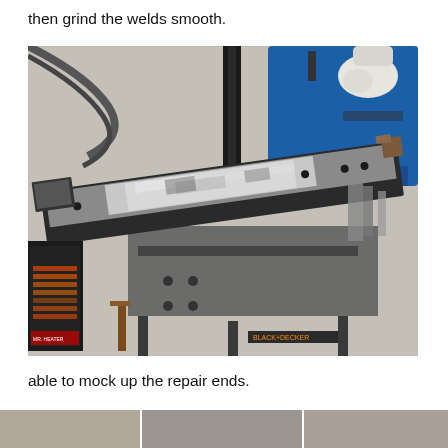then grind the welds smooth.
[Figure (photo): A welded metal frame rail/bar with ground welds showing shiny silver metal, laid on a workbench. A blue welder and welding gloves are visible in the upper right. A portable propane heater is visible on the left. The workbench appears to be a Black & Decker Workmate.]
able to mock up the repair ends.
[Figure (photo): Bottom strip showing partial view of additional photos below.]